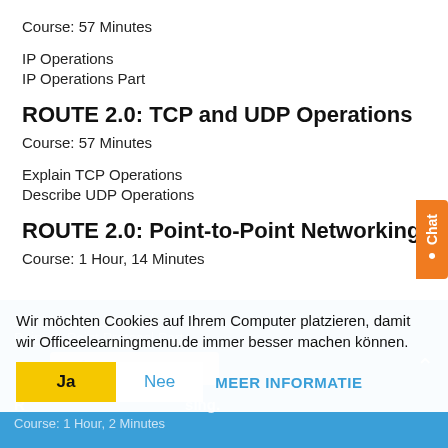Course: 57 Minutes
IP Operations
IP Operations Part
ROUTE 2.0: TCP and UDP Operations
Course: 57 Minutes
Explain TCP Operations
Describe UDP Operations
ROUTE 2.0: Point-to-Point Networking
Course: 1 Hour, 14 Minutes
Point-to-Point Protocol
Point-to-Point Protocol Part
R... sing.
Course: 1 Hour, 2 Minutes
Wir möchten Cookies auf Ihrem Computer platzieren, damit wir Officeelearningmenu.de immer besser machen können.
Ja   Nee   MEER INFORMATIE